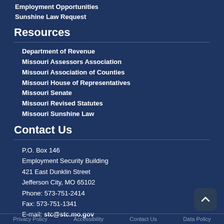Employment Opportunities
Sunshine Law Request
Resources
Department of Revenue
Missouri Assessors Association
Missouri Association of Counties
Missouri House of Representatives
Missouri Senate
Missouri Revised Statutes
Missouri Sunshine Law
Contact Us
P.O. Box 146
Employment Security Building
421 East Dunklin Street
Jefferson City, MO 65102
Phone: 573-751-2414
Fax: 573-751-1341
E-mail: stc@stc.mo.gov
Privacy Policy   Accessibility   Contact Us   Data Policy